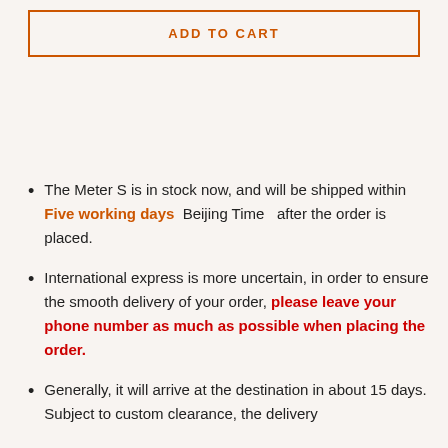ADD TO CART
The Meter S is in stock now, and will be shipped within Five working days  Beijing Time   after the order is placed.
International express is more uncertain, in order to ensure the smooth delivery of your order, please leave your phone number as much as possible when placing the order.
Generally, it will arrive at the destination in about 15 days. Subject to custom clearance, the delivery...